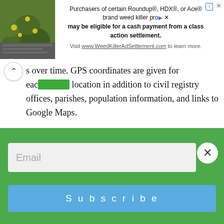[Figure (other): Advertisement banner: plant/nature photo on left, text about Roundup/HDX/Ace weed killer class action settlement on right. Visit www.WeedKillerAdSettlement.com to learn more.]
s over time. GPS coordinates are given for each location in addition to civil registry offices, parishes, population information, and links to Google Maps.
Mapster This database allows users to search for maps in Pomerania. While it is a little difficult to navigate, it may prove useful for people looking for city (Stadt) plans. This is an extremely useful resource. Users may have to type in the Polish spelling of the city name, however.
Koszalin Archives Community Maps is a comprehensive mapping utility that shows plots of land, addresses, public works, and more. This is the perfect resource to view modern-day city plans within Koszalin's administrative area.
Email
Subscribe